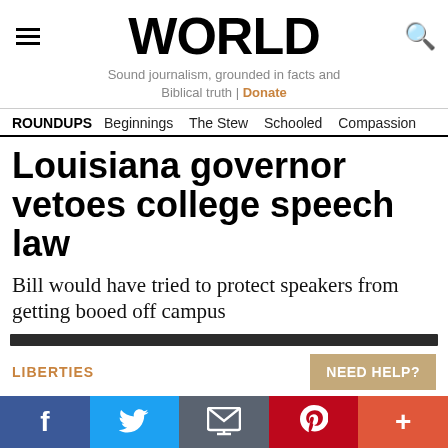WORLD — Sound journalism, grounded in facts and Biblical truth | Donate
ROUNDUPS   Beginnings   The Stew   Schooled   Compassion
Louisiana governor vetoes college speech law
Bill would have tried to protect speakers from getting booed off campus
LIBERTIES
NEED HELP?